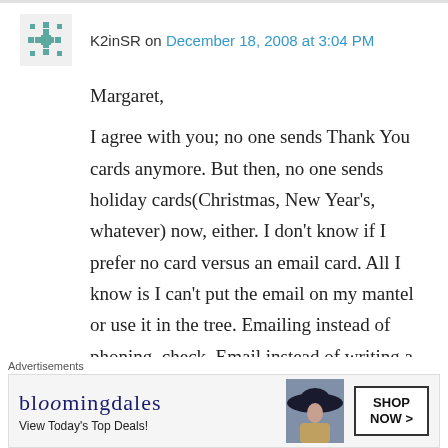K2inSR on December 18, 2008 at 3:04 PM
Margaret,

I agree with you; no one sends Thank You cards anymore. But then, no one sends holiday cards(Christmas, New Year's, whatever) now, either. I don't know if I prefer no card versus an email card. All I know is I can't put the email on my mantel or use it in the tree. Emailing instead of phoning, check. Email instead of writing a letter, maybe. Blogging instead of killing your neighbor, check. Even (choke) thank you's by
Advertisements
[Figure (other): Bloomingdales advertisement banner with logo, 'View Today's Top Deals!' text, woman in wide-brim hat, and 'SHOP NOW >' button]